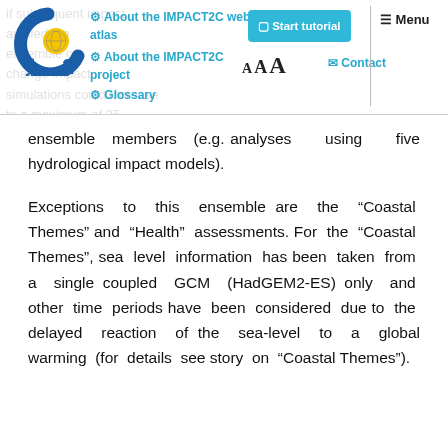IMPACT2C web-atlas navigation header with logo, About the IMPACT2C web-atlas, About the IMPACT2C project, Glossary links, Start tutorial button, AAA font controls, Contact, Menu
ensemble members (e.g. analyses using five hydrological impact models).
Exceptions to this ensemble are the “Coastal Themes” and “Health” assessments. For the “Coastal Themes”, sea level information has been taken from a single coupled GCM (HadGEM2-ES) only and other time periods have been considered due to the delayed reaction of the sea-level to a global warming (for details see story on “Coastal Themes”).